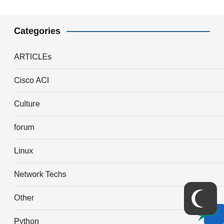Categories
ARTICLEs
Cisco ACI
Culture
forum
Linux
Network Techs
Other
Python
[Figure (logo): Dark rounded square app icon with a crescent moon symbol in white, overlapping a teal chat bubble and blue rectangle in bottom-right corner]